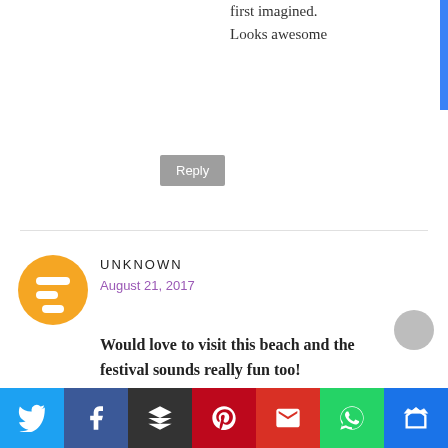first imagined. Looks awesome
Reply
UNKNOWN
August 21, 2017
Would love to visit this beach and the festival sounds really fun too!
Reply
Replies
DR ROSHAN RADHAKRISHNA
[Figure (other): Social share bar with icons for Twitter, Facebook, Buffer, Pinterest, Gmail, WhatsApp, Bloglovin]